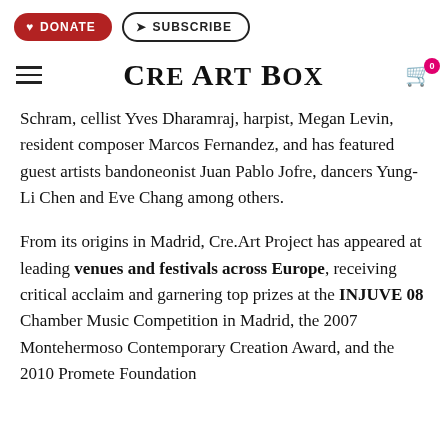DONATE | SUBSCRIBE
Cre Art Box
Schram, cellist Yves Dharamraj, harpist, Megan Levin, resident composer Marcos Fernandez, and has featured guest artists bandoneonist Juan Pablo Jofre, dancers Yung- Li Chen and Eve Chang among others.
From its origins in Madrid, Cre.Art Project has appeared at leading venues and festivals across Europe, receiving critical acclaim and garnering top prizes at the INJUVE 08 Chamber Music Competition in Madrid, the 2007 Montehermoso Contemporary Creation Award, and the 2010 Promete Foundation